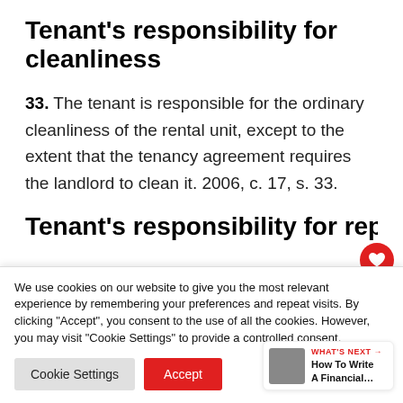Tenant's responsibility for cleanliness
33. The tenant is responsible for the ordinary cleanliness of the rental unit, except to the extent that the tenancy agreement requires the landlord to clean it. 2006, c. 17, s. 33.
Tenant's responsibility for repair
We use cookies on our website to give you the most relevant experience by remembering your preferences and repeat visits. By clicking "Accept", you consent to the use of all the cookies. However, you may visit "Cookie Settings" to provide a controlled consent.